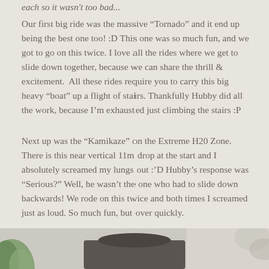each so it wasn't too bad...
Our first big ride was the massive “Tornado” and it end up being the best one too! :D This one was so much fun, and we got to go on this twice. I love all the rides where we get to slide down together, because we can share the thrill & excitement.  All these rides require you to carry this big heavy “boat” up a flight of stairs. Thankfully Hubby did all the work, because I’m exhausted just climbing the stairs :P
Next up was the “Kamikaze” on the Extreme H20 Zone. There is this near vertical 11m drop at the start and I absolutely screamed my lungs out :’D Hubby’s response was “Serious?” Well, he wasn’t the one who had to slide down backwards! We rode on this twice and both times I screamed just as loud. So much fun, but over quickly.
[Figure (photo): Partial view of a photo at the bottom of the page showing tropical leaves on the left, a dark object in the center, and a light background with foliage on the right.]